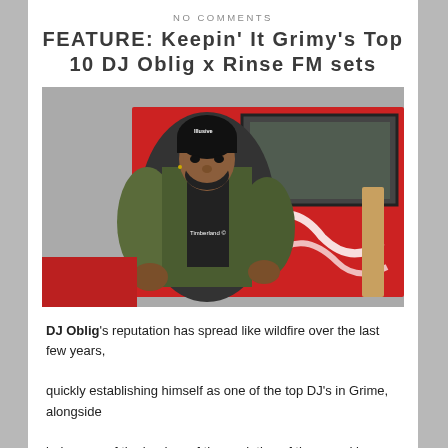NO COMMENTS
FEATURE: Keepin' It Grimy's Top 10 DJ Oblig x Rinse FM sets
[Figure (photo): DJ Oblig standing in front of a red bus with graffiti, wearing a black beanie and olive/black Timberland jacket]
DJ Oblig's reputation has spread like wildfire over the last few years, quickly establishing himself as one of the top DJ's in Grime, alongside being one of the leaders of the evolution of the sound by incorporating